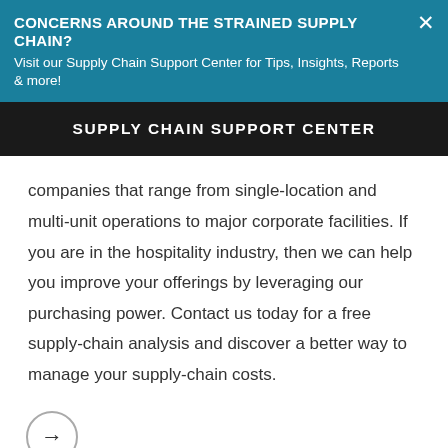CONCERNS AROUND THE STRAINED SUPPLY CHAIN?
Visit our Supply Chain Support Center for Tips, Insights, Reports & more!
SUPPLY CHAIN SUPPORT CENTER
companies that range from single-location and multi-unit operations to major corporate facilities. If you are in the hospitality industry, then we can help you improve your offerings by leveraging our purchasing power. Contact us today for a free supply-chain analysis and discover a better way to manage your supply-chain costs.